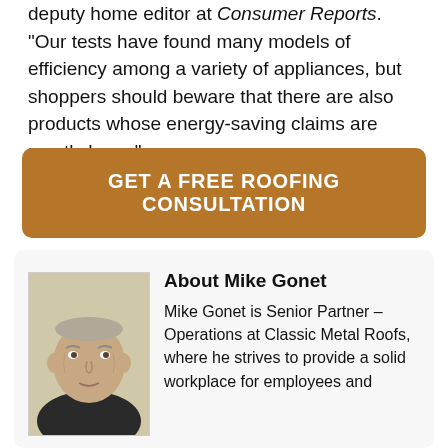deputy home editor at Consumer Reports. "Our tests have found many models of efficiency among a variety of appliances, but shoppers should beware that there are also products whose energy-saving claims are mostly hype."
GET A FREE ROOFING CONSULTATION
About Mike Gonet
Mike Gonet is Senior Partner – Operations at Classic Metal Roofs, where he strives to provide a solid workplace for employees and